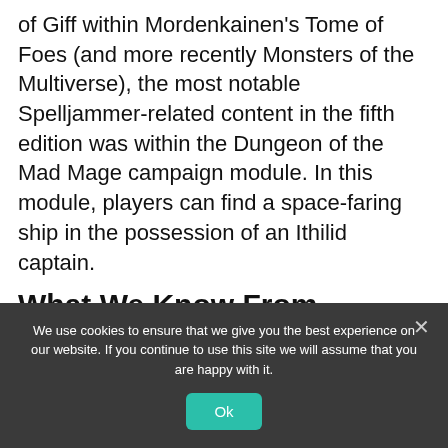of Giff within Mordenkainen's Tome of Foes (and more recently Monsters of the Multiverse), the most notable Spelljammer-related content in the fifth edition was within the Dungeon of the Mad Mage campaign module. In this module, players can find a space-faring ship in the possession of an Ithilid captain.
What We Know From Travelers Of The Multiverse Unearthed Arcana
We use cookies to ensure that we give you the best experience on our website. If you continue to use this site we will assume that you are happy with it.